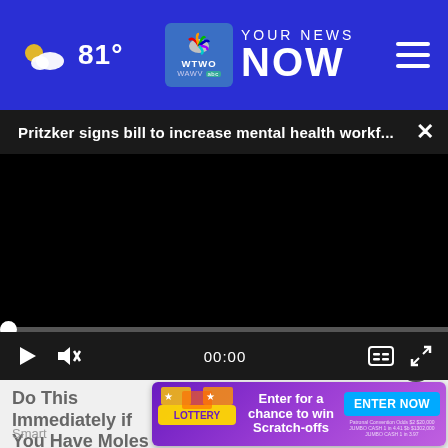81° — WTWO WAWV — YOUR NEWS NOW
Pritzker signs bill to increase mental health workf...
[Figure (screenshot): Video player showing black screen with playback controls: play button, mute icon, timestamp 00:00, captions and fullscreen icons. Progress bar at bottom with white dot at start.]
Do This Immediately if You Have Moles or Skin Tags
Smart
[Figure (infographic): Illinois Lottery advertisement banner with purple gradient background, lottery ticket imagery, 'Enter for a chance to win Scratch-offs' text, ENTER NOW button in blue, fine print at bottom.]